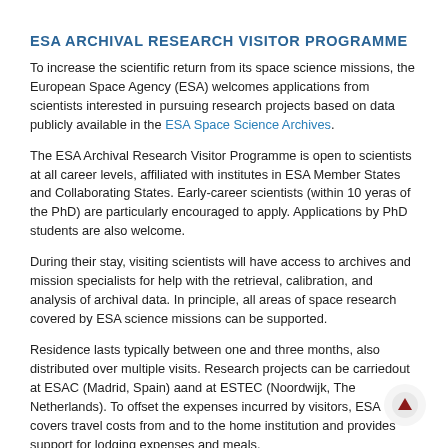ESA ARCHIVAL RESEARCH VISITOR PROGRAMME
To increase the scientific return from its space science missions, the European Space Agency (ESA) welcomes applications from scientists interested in pursuing research projects based on data publicly available in the ESA Space Science Archives.
The ESA Archival Research Visitor Programme is open to scientists at all career levels, affiliated with institutes in ESA Member States and Collaborating States. Early-career scientists (within 10 yeras of the PhD) are particularly encouraged to apply. Applications by PhD students are also welcome.
During their stay, visiting scientists will have access to archives and mission specialists for help with the retrieval, calibration, and analysis of archival data. In principle, all areas of space research covered by ESA science missions can be supported.
Residence lasts typically between one and three months, also distributed over multiple visits. Research projects can be carriedout at ESAC (Madrid, Spain) aand at ESTEC (Noordwijk, The Netherlands). To offset the expenses incurred by visitors, ESA covers travel costs from and to the home institution and provides support for lodging expenses and meals.
Applications received before 1 November 2021 will be considered for visits in spring/summer 2022.
For further details, please refer to the visitor programme webpages.